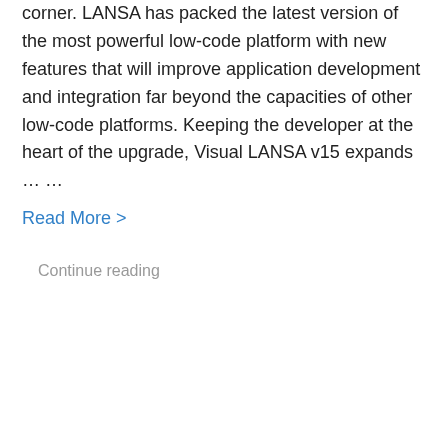corner. LANSA has packed the latest version of the most powerful low-code platform with new features that will improve application development and integration far beyond the capacities of other low-code platforms. Keeping the developer at the heart of the upgrade, Visual LANSA v15 expands … …
Read More >
Continue reading